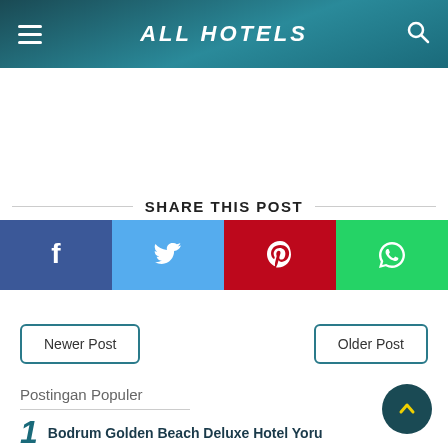ALL HOTELS
SHARE THIS POST
Newer Post
Older Post
Postingan Populer
1 Bodrum Golden Beach Deluxe Hotel Yoru